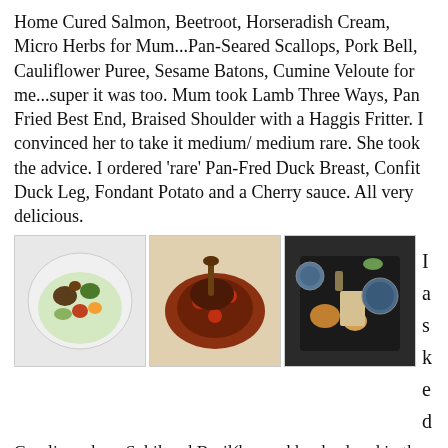Home Cured Salmon, Beetroot, Horseradish Cream, Micro Herbs for Mum...Pan-Seared Scallops, Pork Bell, Cauliflower Puree, Sesame Batons, Cumine Veloute for me...super it was too. Mum took Lamb Three Ways, Pan Fried Best End, Braised Shoulder with a Haggis Fritter. I convinced her to take it medium/ medium rare. She took the advice. I ordered 'rare' Pan-Fred Duck Breast, Confit Duck Leg, Fondant Potato and a Cherry sauce. All very delicious.
[Figure (photo): Photo of a plated dish with vegetables and meat in a white bowl]
[Figure (photo): Photo of a braised/confit duck or meat dish with dark cherry sauce]
[Figure (photo): Photo of an elegant plated dish on dark slate with garnishes and glasses]
I asked Caroline where Sybil and Basil(her and her husband in the kitchen have been given theses names) would eat on a night off as I wanted to find something new on this visit.
She recommended a couple...and we will see.
Funny Moment...well..again...not really....head shaking more like. A young man of about 20 (a Buddy Holly lookalike) was at the next table eating his main course. He cut the meat...took it with the fork into his mouth, nothing yet to shake your head you will